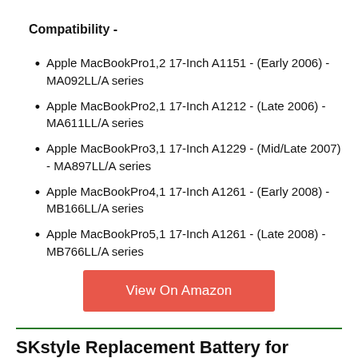Compatibility -
Apple MacBookPro1,2 17-Inch A1151 - (Early 2006) - MA092LL/A series
Apple MacBookPro2,1 17-Inch A1212 - (Late 2006) - MA611LL/A series
Apple MacBookPro3,1 17-Inch A1229 - (Mid/Late 2007) - MA897LL/A series
Apple MacBookPro4,1 17-Inch A1261 - (Early 2008) - MB166LL/A series
Apple MacBookPro5,1 17-Inch A1261 - (Late 2008) - MB766LL/A series
View On Amazon
SKstyle Replacement Battery for